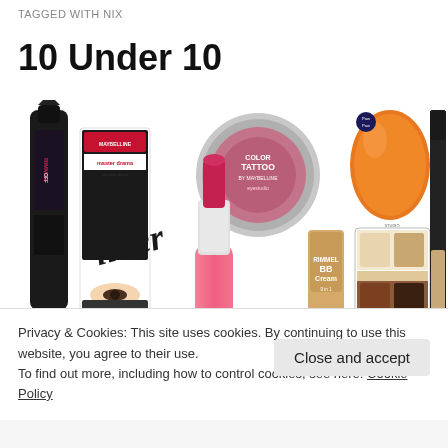TAGGED WITH NIX
10 Under 10
[Figure (photo): Collage of 8 budget beauty products including Rimmel mascara, Maybelline liner, Maybelline Color Tattoo eyeshadow, pink lipstick, BB cream, Rimmel eye palette, orange beauty blender sponge, and black lipstick/foundation stick]
Privacy & Cookies: This site uses cookies. By continuing to use this website, you agree to their use.
To find out more, including how to control cookies, see here: Cookie Policy
Close and accept